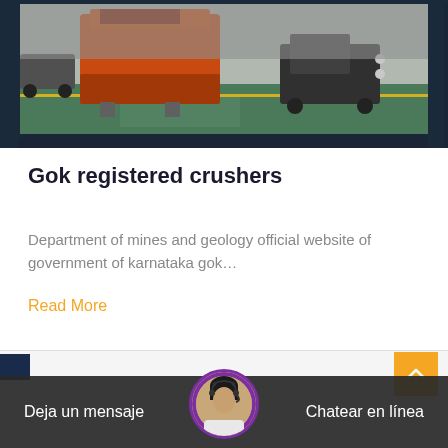[Figure (photo): Industrial crusher machine (orange) and forklift in a factory/warehouse setting with green epoxy floor]
Gok registered crushers
Department of mines and geology official website of government of karnataka gok…
Read More
Deja un mensaje
Chatear en línea